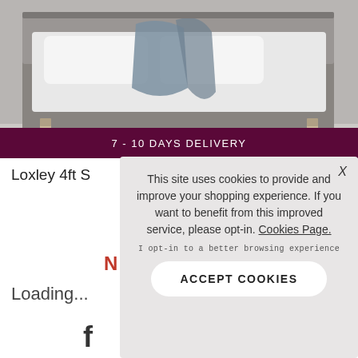[Figure (photo): Photograph of a grey upholstered bed with white pillows and a draped grey/blue blanket, on a light background with a white fluffy rug visible at the bottom left.]
7 - 10 DAYS DELIVERY
Loxley 4ft S
N
Loading...
[Figure (logo): Facebook 'f' logo icon in dark/black color]
This site uses cookies to provide and improve your shopping experience. If you want to benefit from this improved service, please opt-in. Cookies Page.
I opt-in to a better browsing experience
ACCEPT COOKIES